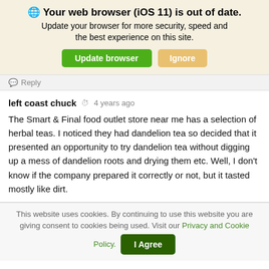🌐 Your web browser (iOS 11) is out of date. Update your browser for more security, speed and the best experience on this site. Update browser | Ignore
Reply
left coast chuck  ⏱ 4 years ago
The Smart & Final food outlet store near me has a selection of herbal teas. I noticed they had dandelion tea so decided that it presented an opportunity to try dandelion tea without digging up a mess of dandelion roots and drying them etc. Well, I don't know if the company prepared it correctly or not, but it tasted mostly like dirt.
This website uses cookies. By continuing to use this website you are giving consent to cookies being used. Visit our Privacy and Cookie Policy. I Agree